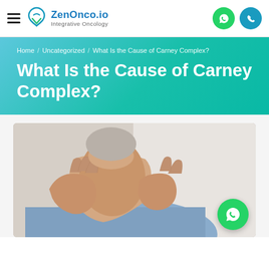ZenOnco.io — Integrative Oncology
Home / Uncategorized / What Is the Cause of Carney Complex?
What Is the Cause of Carney Complex?
[Figure (photo): A person touching/examining their neck area with both hands, wearing a light blue shirt, suggesting thyroid or neck examination. A green WhatsApp floating button is visible in the lower right corner.]